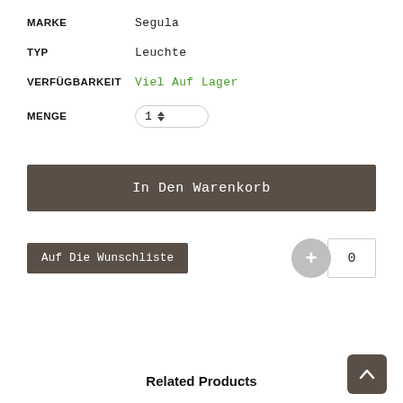MARKE   Segula
TYP   Leuchte
VERFÜGBARKEIT   Viel Auf Lager
MENGE   1
In Den Warenkorb
Auf Die Wunschliste
0
Related Products